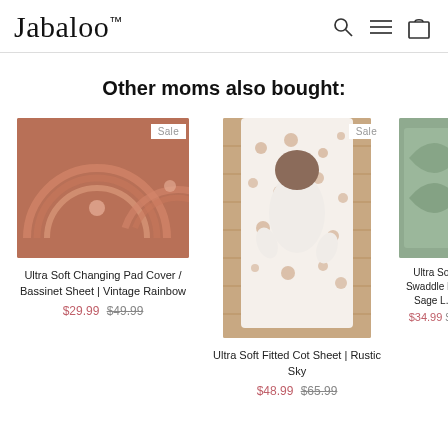Jabaloo™
Other moms also bought:
[Figure (photo): Terra cotta/rust colored changing pad cover with rainbow design (Vintage Rainbow)]
Sale
Ultra Soft Changing Pad Cover / Bassinet Sheet | Vintage Rainbow
$29.99  $49.99
[Figure (photo): Baby lying on white fitted cot sheet with small dot pattern in a wooden crib (Rustic Sky)]
Sale
Ultra Soft Fitted Cot Sheet | Rustic Sky
$48.99  $65.99
[Figure (photo): Partial view of Ultra Soft Swaddle Blanket in Sage color]
Ultra Soft Swaddle B... Sage L...
$34.99 $...